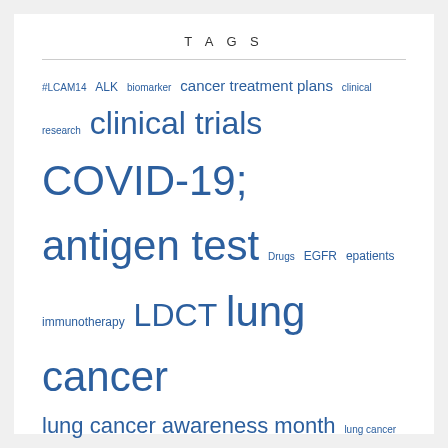TAGS
#LCAM14 ALK biomarker cancer treatment plans clinical research clinical trials COVID-19; antigen test Drugs EGFR epatients immunotherapy LDCT lung cancer lung cancer awareness month lung cancer risk factors lung cancer screening Medicare coverage of LDCT over-treatment patient advocates PCORI Screening self-advocacy shared decision making trials World Cancer Day